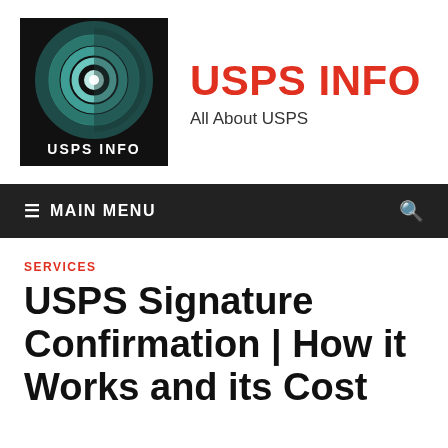[Figure (logo): USPS INFO logo: black square background with teal concentric circle orb graphic and 'USPS INFO' text in white below]
USPS INFO
All About USPS
≡ MAIN MENU
SERVICES
USPS Signature Confirmation | How it Works and its Cost